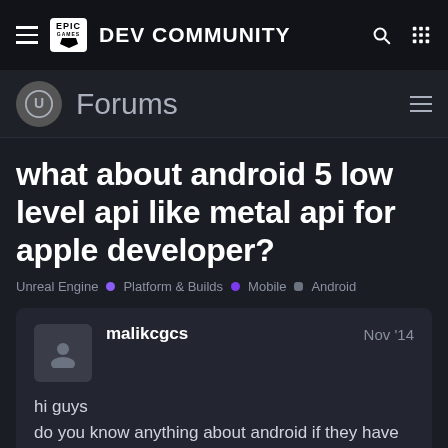EPIC GAMES DEV COMMUNITY
Forums
what about android 5 low level api like metal api for apple developer?
Unreal Engine • Platform & Builds • Mobile ■ Android
malikcgcs  Nov '14
hi guys
do you know anything about android if they have low level api like metal api in future?